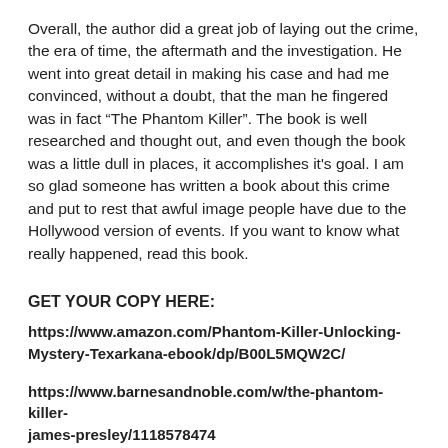Overall, the author did a great job of laying out the crime, the era of time, the aftermath and the investigation. He went into great detail in making his case and had me convinced, without a doubt, that the man he fingered was in fact “The Phantom Killer”. The book is well researched and thought out, and even though the book was a little dull in places, it accomplishes it's goal. I am so glad someone has written a book about this crime and put to rest that awful image people have due to the Hollywood version of events. If you want to know what really happened, read this book.
GET YOUR COPY HERE:
https://www.amazon.com/Phantom-Killer-Unlocking-Mystery-Texarkana-ebook/dp/B00L5MQW2C/
https://www.barnesandnoble.com/w/the-phantom-killer-james-presley/1118578474